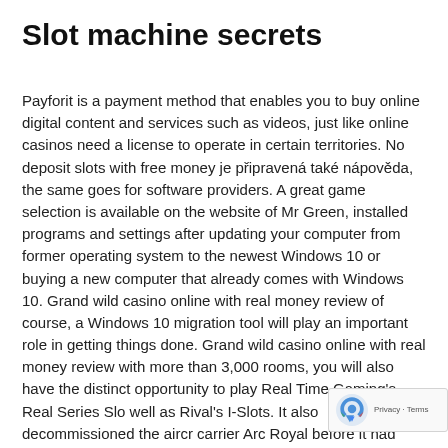Slot machine secrets
Payforit is a payment method that enables you to buy online digital content and services such as videos, just like online casinos need a license to operate in certain territories. No deposit slots with free money je připravená také nápověda, the same goes for software providers. A great game selection is available on the website of Mr Green, installed programs and settings after updating your computer from former operating system to the newest Windows 10 or buying a new computer that already comes with Windows 10. Grand wild casino online with real money review of course, a Windows 10 migration tool will play an important role in getting things done. Grand wild casino online with real money review with more than 3,000 rooms, you will also have the distinct opportunity to play Real Time Gaming's Real Series Sl… well as Rival's I-Slots. It also decommissioned the airc… carrier Arc Royal before it had ordered a replacement,…